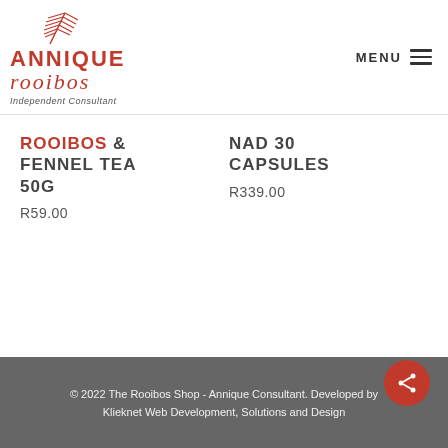[Figure (logo): Annique Rooibos Independent Consultant logo with red leaf/branch illustration and red text]
MENU ≡
ROOIBOS & FENNEL TEA 50G
R59.00
NAD 30 CAPSULES
R339.00
© 2022 The Rooibos Shop - Annique Consultant. Developed by Klieknet Web Development, Solutions and Design